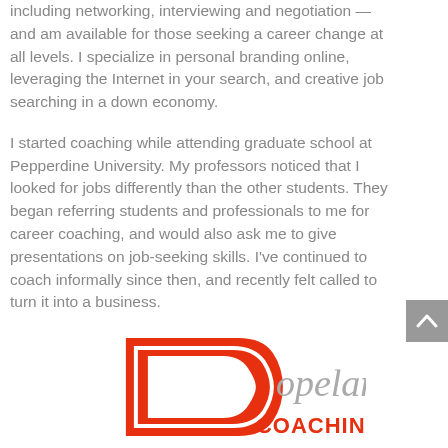including networking, interviewing and negotiation — and am available for those seeking a career change at all levels. I specialize in personal branding online, leveraging the Internet in your search, and creative job searching in a down economy.
I started coaching while attending graduate school at Pepperdine University. My professors noticed that I looked for jobs differently than the other students. They began referring students and professionals to me for career coaching, and would also ask me to give presentations on job-seeking skills. I've continued to coach informally since then, and recently felt called to turn it into a business.
[Figure (logo): Copeland Coaching logo: large red block letter C with white interior outline, with 'opeland' in gray script and 'COACHING' in red bold text below]